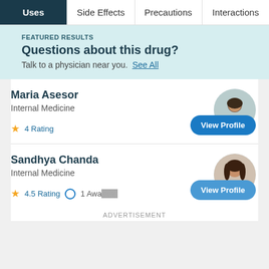Uses | Side Effects | Precautions | Interactions
FEATURED RESULTS
Questions about this drug?
Talk to a physician near you. See All
Maria Asesor
Internal Medicine
★ 4 Rating
View Profile
[Figure (photo): Circular headshot of Maria Asesor, a physician with glasses]
Sandhya Chanda
Internal Medicine
★ 4.5 Rating | 1 Award(s)
View Profile
[Figure (photo): Circular headshot of Sandhya Chanda, a physician]
ADVERTISEMENT